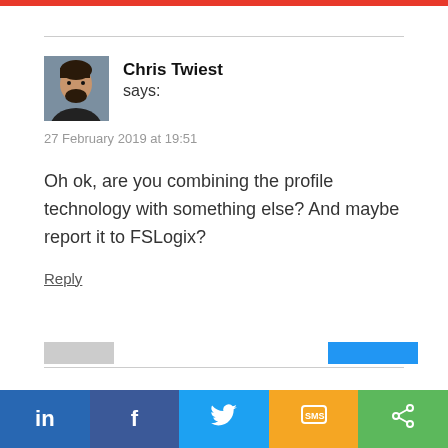Chris Twiest says:
27 February 2019 at 19:51
Oh ok, are you combining the profile technology with something else? And maybe report it to FSLogix?
Reply